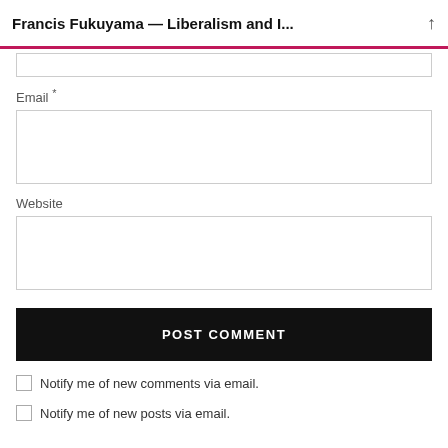Francis Fukuyama — Liberalism and I...
Email *
Website
POST COMMENT
Notify me of new comments via email.
Notify me of new posts via email.